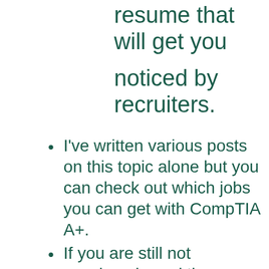resume that will get you noticed by recruiters.
I've written various posts on this topic alone but you can check out which jobs you can get with CompTIA A+.
If you are still not convinced, read the reasons why a career as a cloud engineer in 2021 is your best bet below.
Our people are IT specialists with a curious